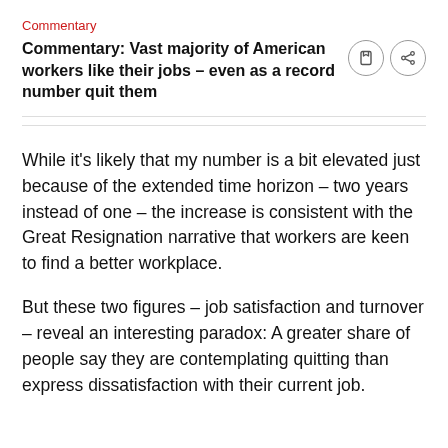Commentary
Commentary: Vast majority of American workers like their jobs – even as a record number quit them
While it's likely that my number is a bit elevated just because of the extended time horizon – two years instead of one – the increase is consistent with the Great Resignation narrative that workers are keen to find a better workplace.
But these two figures – job satisfaction and turnover – reveal an interesting paradox: A greater share of people say they are contemplating quitting than express dissatisfaction with their current job.